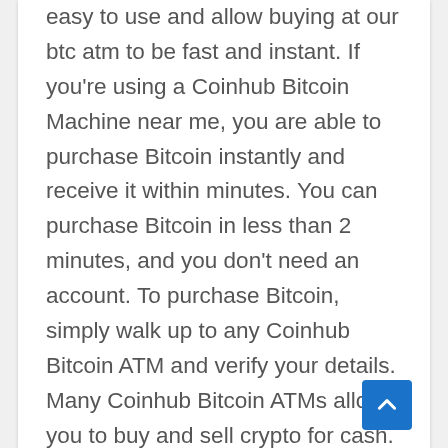easy to use and allow buying at our btc atm to be fast and instant. If you're using a Coinhub Bitcoin Machine near me, you are able to purchase Bitcoin instantly and receive it within minutes. You can purchase Bitcoin in less than 2 minutes, and you don't need an account. To purchase Bitcoin, simply walk up to any Coinhub Bitcoin ATM and verify your details. Many Coinhub Bitcoin ATMs allow you to buy and sell crypto for cash. You can buy Bitcoin using one our Bitcoin ATMs. First, locate the nearest Bitcoin ATM in your area by visiting our Coinhub Bitcoin ATM Locator. Walk up to the machine and enter your phone number. You will then verify your phone with a code and scan your bitcoin wallet. Enter each bill one at a time to determine the amount you wish to purchase. After that, confirm the purchase by entering the bitcoin atm. Bitcoin is then instantly sent to your wallet. The daily buying limit is $25,000. There are Bitcoin Machines located in major